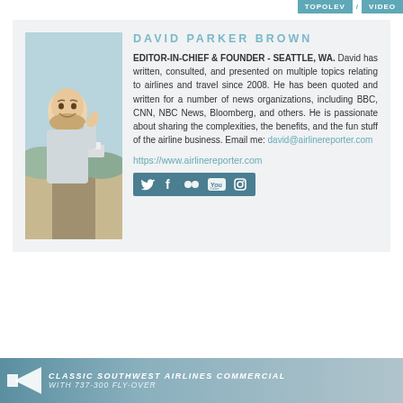TOPOLEV / VIDEO
DAVID PARKER BROWN
EDITOR-IN-CHIEF & FOUNDER - SEATTLE, WA. David has written, consulted, and presented on multiple topics relating to airlines and travel since 2008. He has been quoted and written for a number of news organizations, including BBC, CNN, NBC News, Bloomberg, and others. He is passionate about sharing the complexities, the benefits, and the fun stuff of the airline business. Email me: david@airlinereporter.com
https://www.airlinereporter.com
[Figure (infographic): Social media icons bar: Twitter, Facebook, Flickr, YouTube, Instagram on teal background]
[Figure (photo): Photo of David Parker Brown smiling with thumbs up outdoors near a road]
CLASSIC SOUTHWEST AIRLINES COMMERCIAL WITH 737-300 FLY-OVER